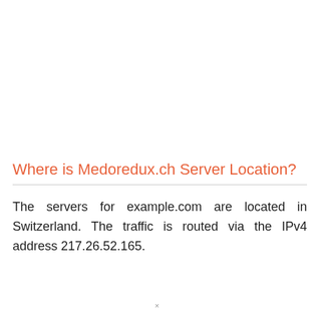Where is Medoredux.ch Server Location?
The servers for example.com are located in Switzerland. The traffic is routed via the IPv4 address 217.26.52.165.